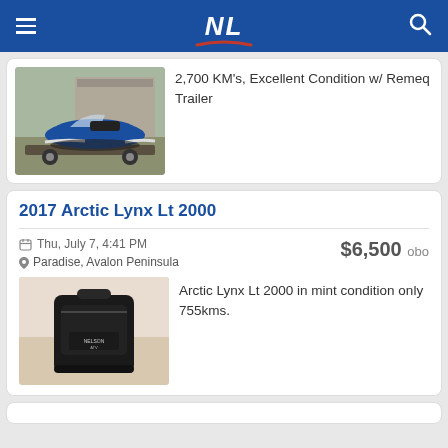NL
2,700 KM's, Excellent Condition w/ Remeq Trailer
2017 Arctic Lynx Lt 2000
Thu, July 7, 4:41 PM
Paradise, Avalon Peninsula
$6,500 obo
[Figure (photo): A snowmobile on a trailer parked outdoors]
[Figure (photo): A black gear bag standing upright, appears to be for ATV/snowmobile equipment]
Arctic Lynx Lt 2000 in mint condition only 755kms.